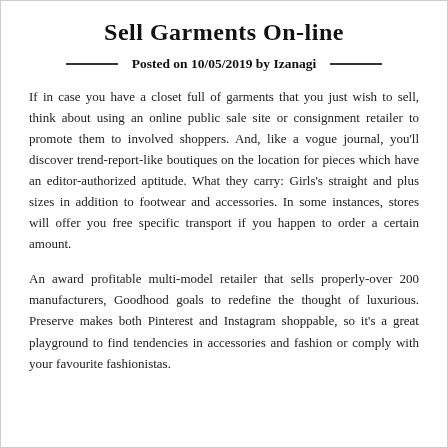Sell Garments On-line
Posted on 10/05/2019 by Izanagi
If in case you have a closet full of garments that you just wish to sell, think about using an online public sale site or consignment retailer to promote them to involved shoppers. And, like a vogue journal, you'll discover trend-report-like boutiques on the location for pieces which have an editor-authorized aptitude. What they carry: Girls's straight and plus sizes in addition to footwear and accessories. In some instances, stores will offer you free specific transport if you happen to order a certain amount.
An award profitable multi-model retailer that sells properly-over 200 manufacturers, Goodhood goals to redefine the thought of luxurious. Preserve makes both Pinterest and Instagram shoppable, so it’s a great playground to find tendencies in accessories and fashion or comply with your favourite fashionistas.